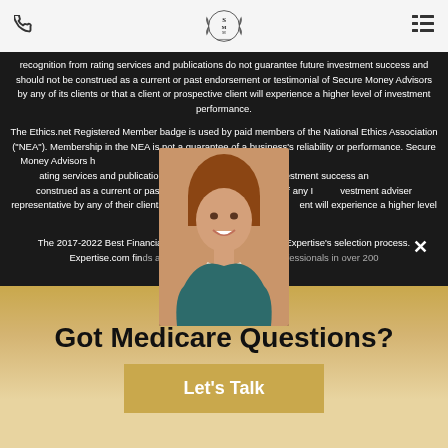Phone icon | SMM Logo | Menu icon
recognition from rating services and publications do not guarantee future investment success and should not be construed as a current or past endorsement or testimonial of Secure Money Advisors by any of its clients or that a client or prospective client will experience a higher level of investment performance.
The Ethics.net Registered Member badge is used by paid members of the National Ethics Association (“NEA”). Membership in the NEA is not a guarantee of a business’s reliability or performance. Secure Money Advisors has been a member of the NEA since 2022. Third party rankings and recognition from rating services and publications do not guarantee future investment success and should not be construed as a current or past endorsement or testimonial of any IA or investment adviser representative by any of their clients or that a client or prospective client will experience a higher level of investment performance.
The 2017-2022 Best Financial Advisors award is based on Expertise’s selection process. Expertise.com finds and reviews the top service professionals in over 200
[Figure (photo): Woman smiling, brown hair, wearing teal top and pearl necklace, photo overlaying the dark text section]
Got Medicare Questions?
Let's Talk